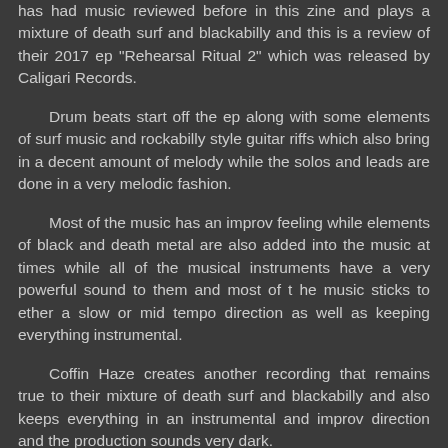has had music reviewed before in this zine and plays a mixture of death surf and blackabilly and this is a review of their 2017 ep "Rehearsal Ritual 2" which was released by Caligari Records.
Drum beats start off the ep along with some elements of surf music and rockabilly style guitar riffs which also bring in a decent amount of melody while the solos and leads are done in a very melodic fashion.
Most of the music has an improv feeling while elements of black and death metal are also added into the music at times while all of the musical instruments have a very powerful sound to them and most of t he music sticks to ether a slow or mid tempo direction as well as keeping everything instrumental.
Coffin Haze creates another recording that remains true to their mixture of death surf and blackabilly and also keeps everything in an instrumental and improv direction and the production sounds very dark.